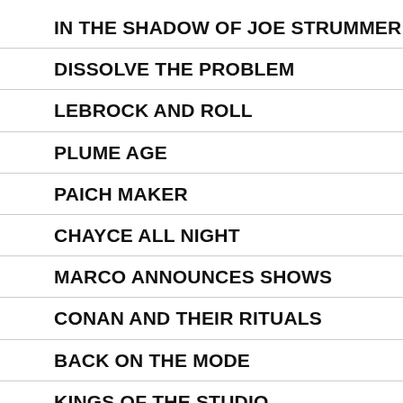IN THE SHADOW OF JOE STRUMMER
DISSOLVE THE PROBLEM
LEBROCK AND ROLL
PLUME AGE
PAICH MAKER
CHAYCE ALL NIGHT
MARCO ANNOUNCES SHOWS
CONAN AND THEIR RITUALS
BACK ON THE MODE
KINGS OF THE STUDIO